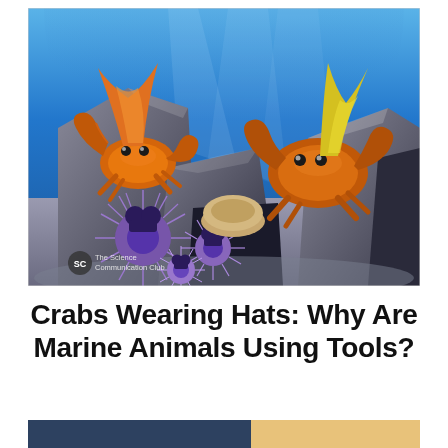[Figure (illustration): Digital illustration of animated crabs wearing hats on an underwater rocky reef scene. Two large orange crabs are visible, one on the left wearing an orange fin-like hat and one on the right wearing a yellow hat. Several purple sea urchins are in the foreground. The background shows blue underwater lighting with rays of light. A small logo in the bottom-left reads 'The Science Communication Club'.]
Crabs Wearing Hats: Why Are Marine Animals Using Tools?